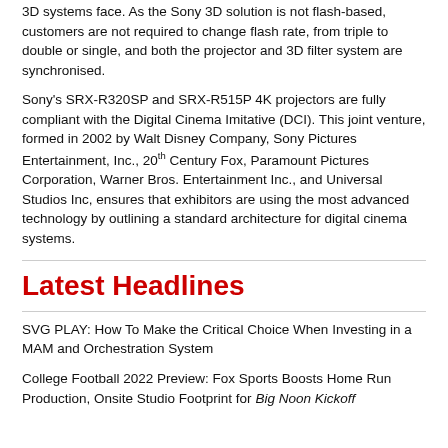3D systems face. As the Sony 3D solution is not flash-based, customers are not required to change flash rate, from triple to double or single, and both the projector and 3D filter system are synchronised.
Sony's SRX-R320SP and SRX-R515P 4K projectors are fully compliant with the Digital Cinema Imitative (DCI). This joint venture, formed in 2002 by Walt Disney Company, Sony Pictures Entertainment, Inc., 20th Century Fox, Paramount Pictures Corporation, Warner Bros. Entertainment Inc., and Universal Studios Inc, ensures that exhibitors are using the most advanced technology by outlining a standard architecture for digital cinema systems.
Latest Headlines
SVG PLAY: How To Make the Critical Choice When Investing in a MAM and Orchestration System
College Football 2022 Preview: Fox Sports Boosts Home Run Production, Onsite Studio Footprint for Big Noon Kickoff